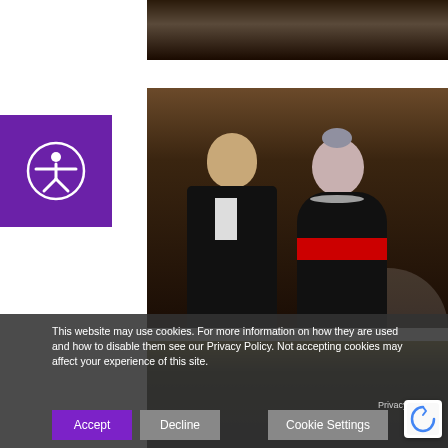[Figure (photo): Top cropped photo showing partial view of people in formal wear, dark background]
[Figure (photo): Photo of a couple in formal evening wear at a gala event. Man in tuxedo with bow tie holding a cocktail glass, woman in black off-shoulder dress with red sash and pearl necklace, with grey styled hair.]
[Figure (photo): Partial bottom photo showing group of people, partially obscured by cookie consent overlay]
This website may use cookies. For more information on how they are used and how to disable them see our Privacy Policy. Not accepting cookies may affect your experience of this site.
Accept
Decline
Cookie Settings
Privacy • Terms